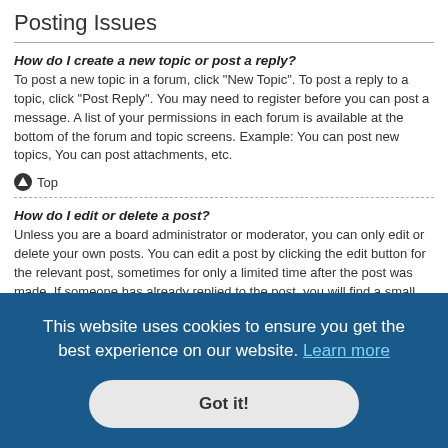Posting Issues
How do I create a new topic or post a reply?
To post a new topic in a forum, click "New Topic". To post a reply to a topic, click "Post Reply". You may need to register before you can post a message. A list of your permissions in each forum is available at the bottom of the forum and topic screens. Example: You can post new topics, You can post attachments, etc.
⬤ Top
How do I edit or delete a post?
Unless you are a board administrator or moderator, you can only edit or delete your own posts. You can edit a post by clicking the edit button for the relevant post, sometimes for only a limited time after the post was made. If someone has already replied to the post, you will find a small piece of text output below the post when you return to the topic which lists the number of times you edited it along with the date and time. This will only appear if someone has replied; it will not appear if a moderator or administrator edited the post, though they may leave a note as to why they've edited the post. Please note that normal users cannot delete a post once someone has replied.
⬤ Top
How do I add a signature to my post?
To add a signature to a post you must first create one via your User Control Panel. Once created, you can check the Attach a signature box on the posting form to
This website uses cookies to ensure you get the best experience on our website. Learn more
Got it!